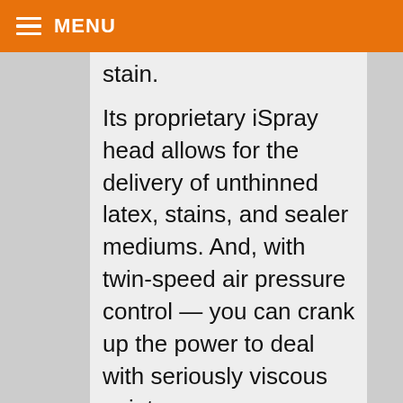MENU
stain.
Its proprietary iSpray head allows for the delivery of unthinned latex, stains, and sealer mediums. And, with twin-speed air pressure control — you can crank up the power to deal with seriously viscous paints.
Three patterns provide the ideal method of address — including a choice of spray width, while a 15-